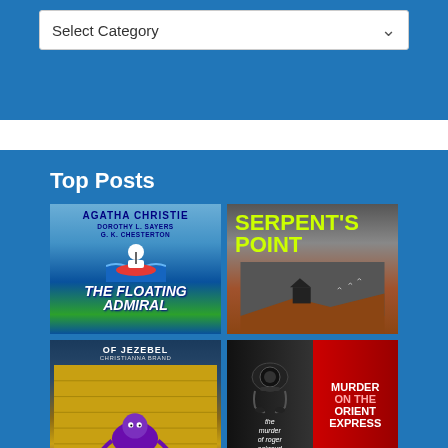[Figure (screenshot): Select Category dropdown input box with white background and down arrow chevron, on blue background bar]
Top Posts
[Figure (illustration): Book cover: The Floating Admiral by Agatha Christie, Dorothy L. Sayers, G. K. Chesterton — colorful illustration of a boat on water with stylized lettering]
[Figure (illustration): Book cover: Serpent's Point — large yellow-green bold text on dark stormy sky background with cliff landscape]
[Figure (illustration): Book cover: Of Jezebel by Christianna Brand — dark blue top with illustrated purple octopus-like figure at bottom]
[Figure (illustration): Book cover: The Murder of Roger Ackroyd and Murder on the Orient Express — split cover with black phone on left and red blood-splattered text on right]